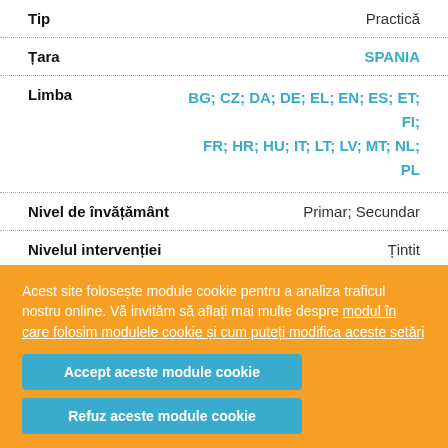| Field | Value |
| --- | --- |
| Tip | Practică |
| Țara | SPANIA |
| Limba | BG; CZ; DA; DE; EL; EN; ES; ET; FI; FR; HR; HU; IT; LT; LV; MT; NL; PL |
| Nivel de învățământ | Primar; Secundar |
| Nivelul intervenției | Țintit |
| Intensitatea intervenției | Permanentă |
Acest site folosește module cookie pentru a analiza traficul nostru online. Vă invităm să aflați mai multe despre modul în care folosim modulele cookie și cum puteți modifica aceste setări
Accept aceste module cookie
Refuz aceste module cookie